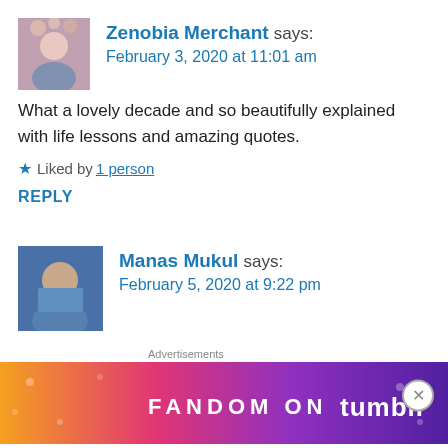Zenobia Merchant says: February 3, 2020 at 11:01 am
What a lovely decade and so beautifully explained with life lessons and amazing quotes.
Liked by 1 person
REPLY
Manas Mukul says: February 5, 2020 at 9:22 pm
I loved how you focussed on the transformation that you
Advertisements
[Figure (infographic): FANDOM ON tumblr advertisement banner with colorful gradient background (orange to purple) and decorative icons]